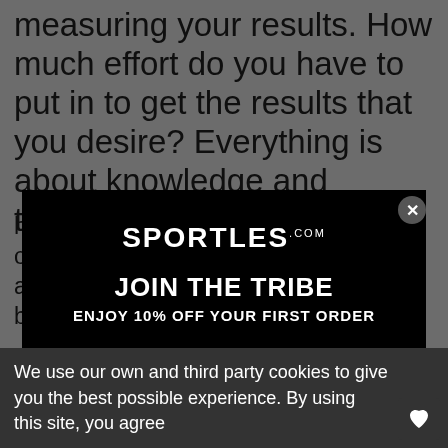measuring your results. How much effort do you have to put in to get the results that you desire? Everything is about knowledge and technology.
home and in the studio. Many elite outdoor cycling teams and individuals choose this Power meter because...
[Figure (screenshot): Modal popup with black background. Contains Sportles.com logo, 'JOIN THE TRIBE' heading, 'ENJOY 10% OFF YOUR FIRST ORDER' subheading, an email input field, and a SUBMIT button.]
We use our own and third party cookies to give you the best possible experience. By using this site, you agree